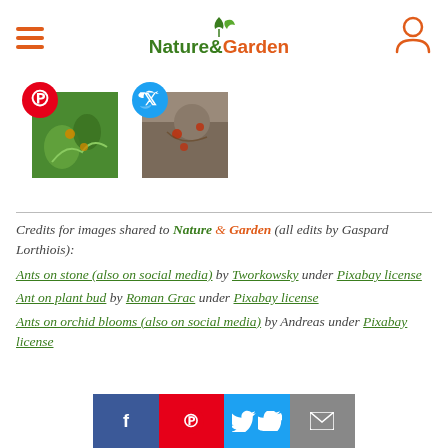Nature & Garden
[Figure (photo): Two social media share images: first with Pinterest badge showing ants on plant/orchid, second with Twitter badge showing ants on stone]
Credits for images shared to Nature & Garden (all edits by Gaspard Lorthiois): Ants on stone (also on social media) by Tworkowsky under Pixabay license. Ant on plant bud by Roman Grac under Pixabay license. Ants on orchid blooms (also on social media) by Andreas under Pixabay license